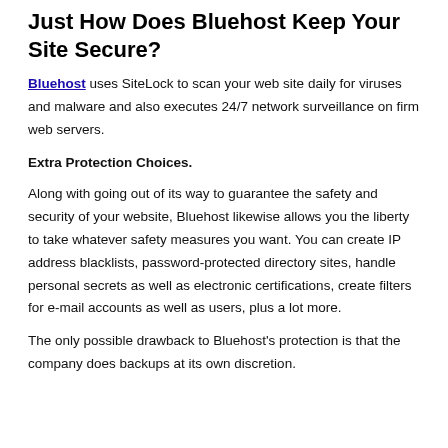Just How Does Bluehost Keep Your Site Secure?
Bluehost uses SiteLock to scan your web site daily for viruses and malware and also executes 24/7 network surveillance on firm web servers.
Extra Protection Choices.
Along with going out of its way to guarantee the safety and security of your website, Bluehost likewise allows you the liberty to take whatever safety measures you want. You can create IP address blacklists, password-protected directory sites, handle personal secrets as well as electronic certifications, create filters for e-mail accounts as well as users, plus a lot more.
The only possible drawback to Bluehost's protection is that the company does backups at its own discretion.